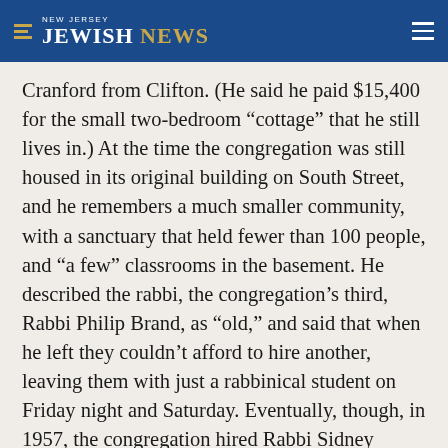NEW JERSEY JEWISH NEWS
Cranford from Clifton. (He said he paid $15,400 for the small two-bedroom “cottage” that he still lives in.) At the time the congregation was still housed in its original building on South Street, and he remembers a much smaller community, with a sanctuary that held fewer than 100 people, and “a few” classrooms in the basement. He described the rabbi, the congregation’s third, Rabbi Philip Brand, as “old,” and said that when he left they couldn’t afford to hire another, leaving them with just a rabbinical student on Friday night and Saturday. Eventually, though, in 1957, the congregation hired Rabbi Sidney Shanken, who pushed the members to move to a new building, according to Steiner, who recalled the rabbi organizing a trip to see other